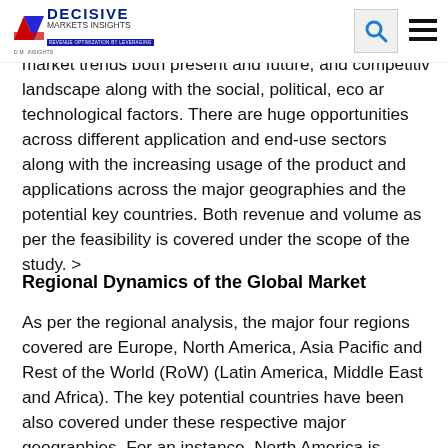DECISIVE MARKETS INSIGHTS
market trends both present and future, and competitive landscape along with the social, political, eco and technological factors. There are huge opportunities across different application and end-use sectors along with the increasing usage of the product and applications across the major geographies and the potential key countries. Both revenue and volume as per the feasibility is covered under the scope of the study. >
Regional Dynamics of the Global Market
As per the regional analysis, the major four regions covered are Europe, North America, Asia Pacific and Rest of the World (RoW) (Latin America, Middle East and Africa). The key potential countries have been also covered under these respective major geographies. For an instance, North America is further bi-furcated into the U.S., Canada and Mexico. Europe covers France, UK, Germany, Italy and Others. The countries covered under